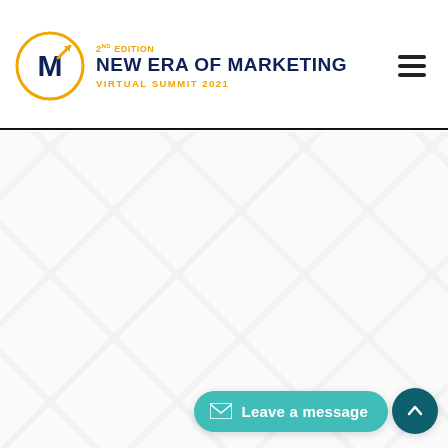2ND EDITION NEW ERA OF MARKETING VIRTUAL SUMMIT 2021
[Figure (logo): New Era of Marketing Virtual Summit 2021 logo with a circle containing the letter M and an upward arrow, gold circle border, navy text]
[Figure (illustration): Diamond/quilted geometric pattern background in light grey and white, covering the lower portion of the page]
[Figure (other): Leave a message button widget: teal pill-shaped button with envelope icon and text 'Leave a message', plus a dark teal circular up-arrow button]